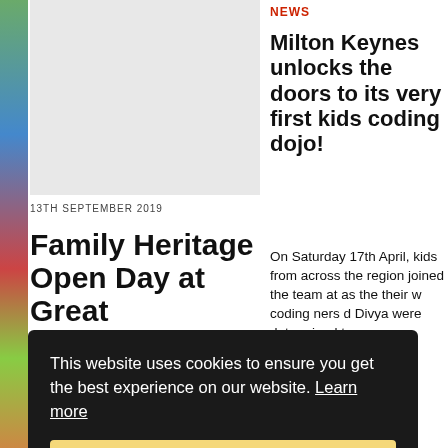[Figure (photo): Photo placeholder image on left column, light grey background]
13TH SEPTEMBER 2019
Family Heritage Open Day at Great
NEWS
Milton Keynes unlocks the doors to its very first kids coding dojo!
On Saturday 17th April, kids from across the region joined the team at as the their w coding ners d Divya were determined to
Arts Centre, for a Family Heritage
This website uses cookies to ensure you get the best experience on our website. Learn more
Got it!